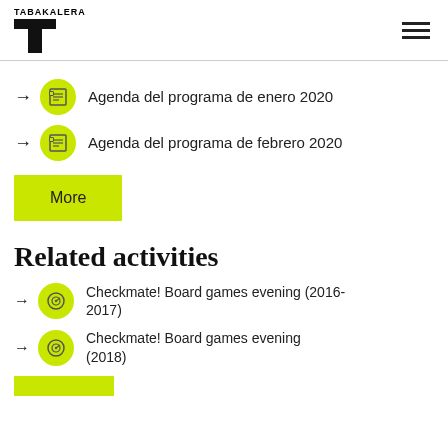TABAKALERA
Agenda del programa de enero 2020
Agenda del programa de febrero 2020
More
Related activities
Checkmate! Board games evening (2016-2017)
Checkmate! Board games evening (2018)